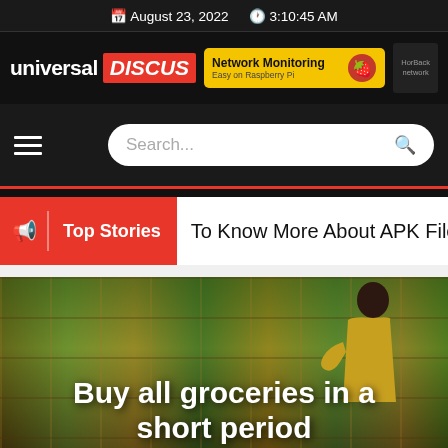August 23, 2022  3:10:45 AM
[Figure (logo): Universal Discus logo with red box on black background, alongside a Network Monitoring yellow ad banner]
Search...
Top Stories
To Know More About APK File Do
[Figure (photo): Woman in yellow jacket shopping for groceries at a supermarket produce section]
Buy all groceries in a short period